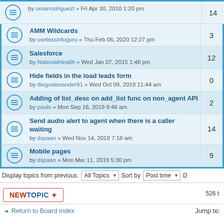by omarrodriguezt » Fri Apr 30, 2010 1:20 pm | 14
AMM Wildcards by uselessinfoguru » Thu Feb 06, 2020 12:27 pm | 3
Salesforce by NationalHealth » Wed Jan 07, 2015 1:48 pm | 12
Hide fields in the load leads form by diegoalexander91 » Wed Oct 09, 2019 11:44 am | 0
Adding of list_desc on add_list func on non_agent API by paolo » Mon Sep 16, 2019 8:46 am | 2
Send audio alert to agent when there is a caller waiting by dspaan » Wed Nov 14, 2018 7:18 am | 14
Mobile pages by dspaan » Mon Mar 11, 2019 5:30 pm | 9
Display topics from previous: All Topics Sort by Post time
NEWTOPIC * 526 t
Return to Board index   Jump to:
WHO IS ONLINE
Users browsing this forum: No registered users and 5 guests